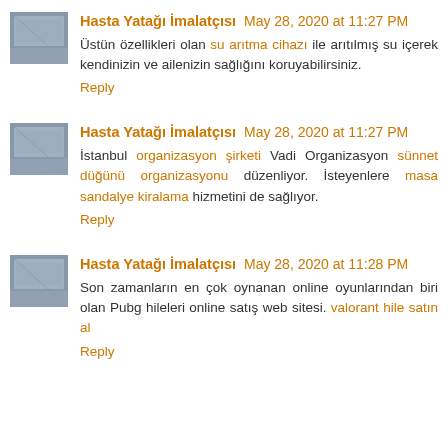Hasta Yatağı İmalatçısı May 28, 2020 at 11:27 PM
Üstün özellikleri olan su arıtma cihazı ile arıtılmış su içerek kendinizin ve ailenizin sağlığını koruyabilirsiniz.
Reply
Hasta Yatağı İmalatçısı May 28, 2020 at 11:27 PM
İstanbul organizasyon şirketi Vadi Organizasyon sünnet düğünü organizasyonu düzenliyor. İsteyenlere masa sandalye kiralama hizmetini de sağlıyor.
Reply
Hasta Yatağı İmalatçısı May 28, 2020 at 11:28 PM
Son zamanların en çok oynanan online oyunlarından biri olan Pubg hileleri online satış web sitesi. valorant hile satın al
Reply